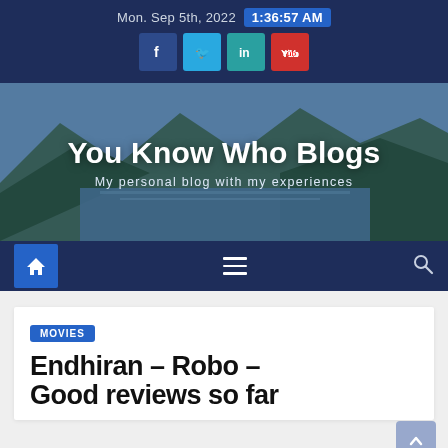Mon. Sep 5th, 2022  1:36:57 AM
[Figure (screenshot): Social media icons: Facebook, Twitter, LinkedIn, YouTube]
You Know Who Blogs
My personal blog with my experiences
[Figure (other): Navigation bar with home icon, hamburger menu, and search icon]
MOVIES
Endhiran – Robo – Good reviews so far